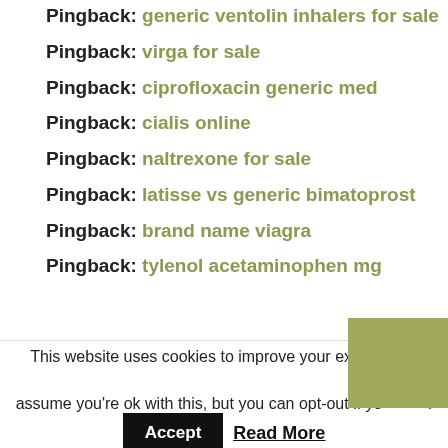Pingback: generic ventolin inhalers for sale
Pingback: virga for sale
Pingback: ciprofloxacin generic med
Pingback: cialis online
Pingback: naltrexone for sale
Pingback: latisse vs generic bimatoprost
Pingback: brand name viagra
Pingback: tylenol acetaminophen mg
This website uses cookies to improve your experience. We'll assume you're ok with this, but you can opt-out if you wish.
Accept  Read More